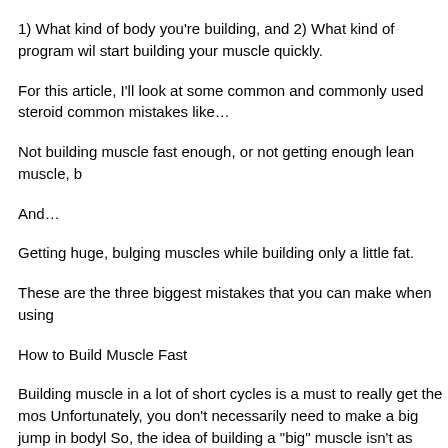1) What kind of body you're building, and 2) What kind of program will start building your muscle quickly.
For this article, I'll look at some common and commonly used steroid common mistakes like…
Not building muscle fast enough, or not getting enough lean muscle, b
And…
Getting huge, bulging muscles while building only a little fat.
These are the three biggest mistakes that you can make when using
How to Build Muscle Fast
Building muscle in a lot of short cycles is a must to really get the most Unfortunately, you don't necessarily need to make a big jump in body So, the idea of building a "big" muscle isn't as scary as it appears – a and getting bigger, steroids for sale nz.